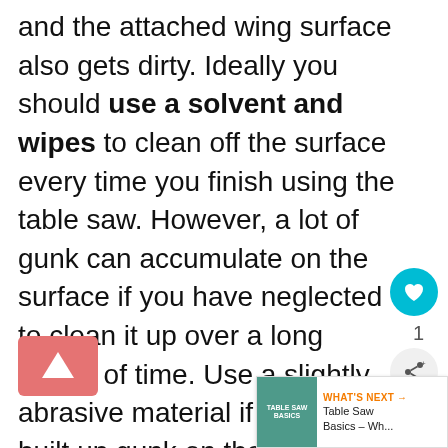and the attached wing surface also gets dirty. Ideally you should use a solvent and wipes to clean off the surface every time you finish using the table saw. However, a lot of gunk can accumulate on the surface if you have neglected to clean it up over a long period of time. Use a slightly abrasive material if you have built up gunk on the surface.
5) Once you have that cleaned up, use a surface or floor wax and buff th top. This will protect the surface as well